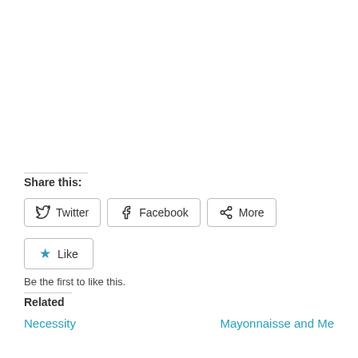Share this:
Twitter
Facebook
More
Like
Be the first to like this.
Related
Necessity
Mayonnaisse and Me